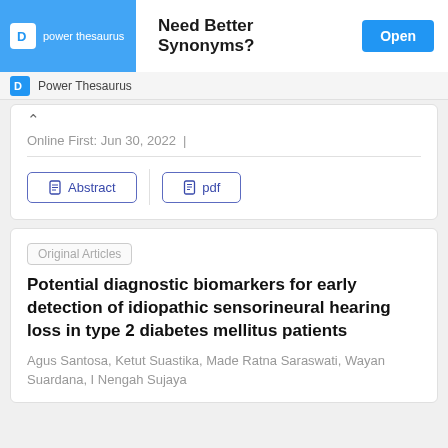[Figure (screenshot): Power Thesaurus advertisement banner with logo, 'Need Better Synonyms?' headline and blue Open button]
Power Thesaurus
Online First: Jun 30, 2022 |
Abstract | pdf
Original Articles
Potential diagnostic biomarkers for early detection of idiopathic sensorineural hearing loss in type 2 diabetes mellitus patients
Agus Santosa, Ketut Suastika, Made Ratna Saraswati, Wayan Suardana, I Nengah Sujaya